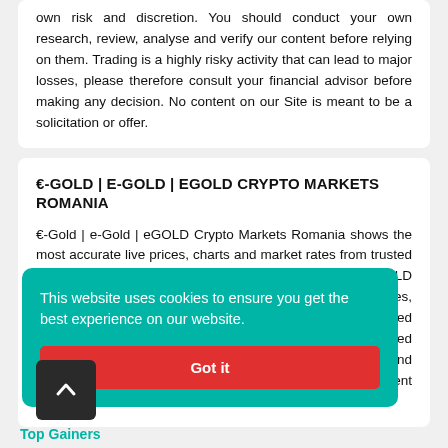own risk and discretion. You should conduct your own research, review, analyse and verify our content before relying on them. Trading is a highly risky activity that can lead to major losses, please therefore consult your financial advisor before making any decision. No content on our Site is meant to be a solicitation or offer.
€-GOLD | E-GOLD | EGOLD CRYPTO MARKETS ROMANIA
€-Gold | e-Gold | eGOLD Crypto Markets Romania shows the most accurate live prices, charts and market rates from trusted top crypto exchanges globally. €-Gold | e-Gold | eGOLD Crypto Markets Romania have over 2100+ cryptocurrencies, trusted historical data, details of active, upcoming and finished ICOs. The website provides lists of top cryptocurrency and blockchain related projects, guides about cryptocurrency wallets and exchanges, coin charts and advertisement space on the website.
This website uses cookies to ensure you get the best experience on our website.
Got it
Top Gainers